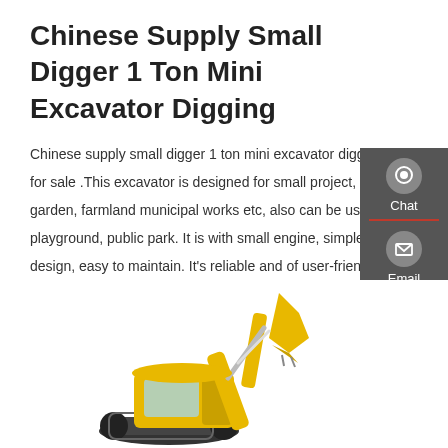Chinese Supply Small Digger 1 Ton Mini Excavator Digging
Chinese supply small digger 1 ton mini excavator digging for sale .This excavator is designed for small project, garden, farmland municipal works etc, also can be used in playground, public park. It is with small engine, simple design, easy to maintain. It's reliable and of user-friendly.
[Figure (screenshot): Red 'Get a quote' button]
[Figure (illustration): Sidebar with Chat, Email, and Contact icons on dark grey background]
[Figure (photo): Yellow mini excavator / digger machine, partially visible at bottom of page]